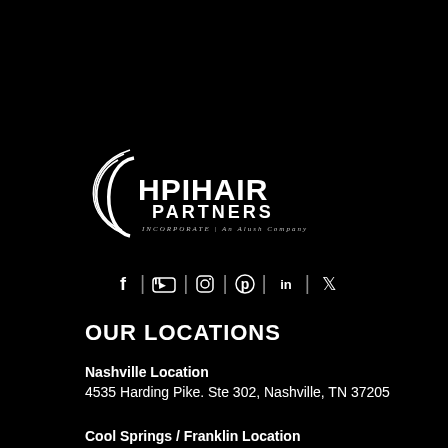[Figure (logo): HPI Hair Partners Incorporated logo — white on black background with circular swirl graphic to the left of bold text 'HPIHAIR PARTNERS' and smaller text 'INCORPORATE | An Alush Company']
[Figure (infographic): Social media icon bar with Facebook, YouTube, Instagram, Pinterest, LinkedIn, and Twitter icons separated by vertical pipes]
OUR LOCATIONS
Nashville Location
4535 Harding Pike. Ste 302, Nashville, TN 37205
Cool Springs / Franklin Location